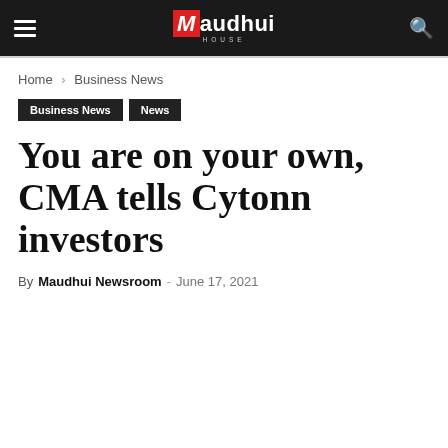Maudhui House
Home › Business News
Business News
News
You are on your own, CMA tells Cytonn investors
By Maudhui Newsroom - June 17, 2021